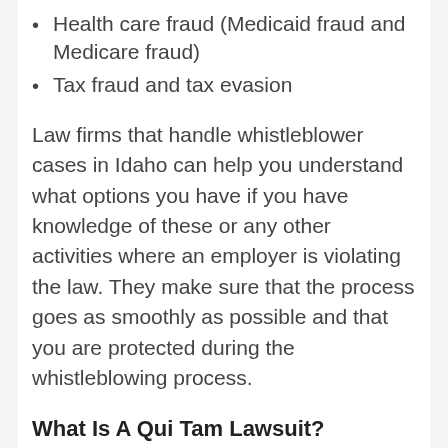Health care fraud (Medicaid fraud and Medicare fraud)
Tax fraud and tax evasion
Law firms that handle whistleblower cases in Idaho can help you understand what options you have if you have knowledge of these or any other activities where an employer is violating the law. They make sure that the process goes as smoothly as possible and that you are protected during the whistleblowing process.
What Is A Qui Tam Lawsuit?
"Qui tam" is a legal term that typically arises in cases involving the federal False Claims Act. It relates to whistleblower claims where a person files a lawsuit alleging that a private entity is defrauding the federal government. In qui tam